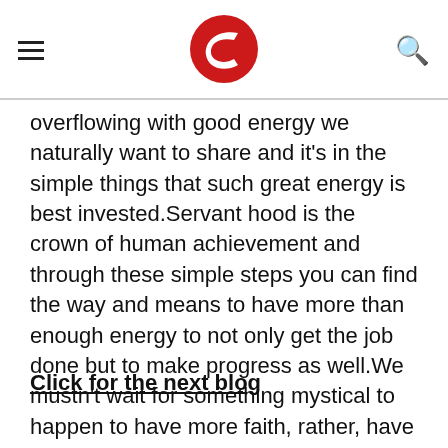[hamburger menu] [C logo] [search icon]
overflowing with good energy we naturally want to share and it’s in the simple things that such great energy is best invested.Servant hood is the crown of human achievement and through these simple steps you can find the way and means to have more than enough energy to not only get the job done but to make progress as well.We mustn’t wait for something mystical to happen to have more faith, rather, have more faith first.
Click for the next blog